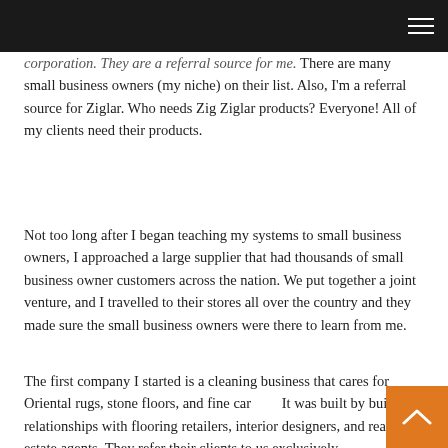[navigation bar with hamburger menu]
corporation. They are a referral source for me. There are many small business owners (my niche) on their list. Also, I'm a referral source for Ziglar. Who needs Zig Ziglar products? Everyone! All of my clients need their products.
Not too long after I began teaching my systems to small business owners, I approached a large supplier that had thousands of small business owner customers across the nation. We put together a joint venture, and I travelled to their stores all over the country and they made sure the small business owners were there to learn from me.
The first company I started is a cleaning business that cares for Oriental rugs, stone floors, and fine carpets. It was built by building relationships with flooring retailers, interior designers, and real estate agents. They refer their clients to us exclusively.